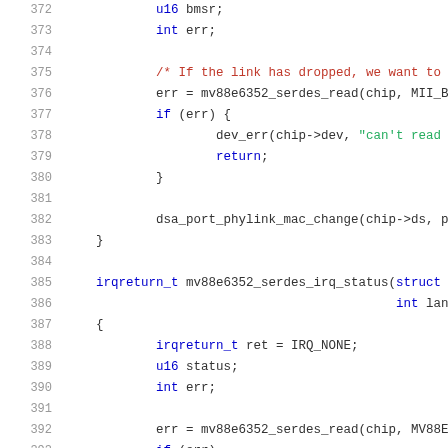Source code listing, lines 372-393, C kernel driver code for mv88e6352 serdes IRQ handling